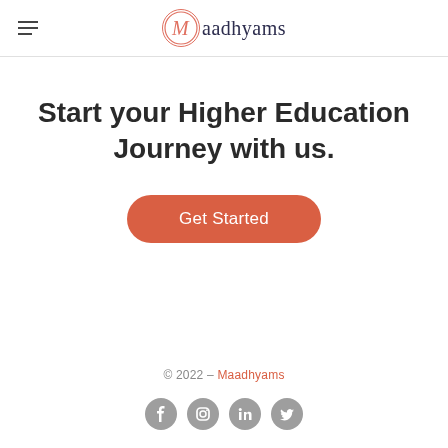Maadhyams
Start your Higher Education Journey with us.
Get Started
© 2022 – Maadhyams
[Figure (illustration): Social media icons: Facebook, Instagram, LinkedIn, Twitter]